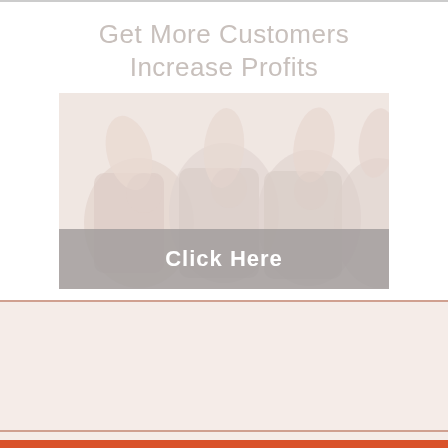Get More Customers Increase Profits
[Figure (photo): Group of business people with thumbs up, faded/washed out appearance, with a gray semi-transparent 'Click Here' button overlay at the bottom]
[Figure (photo): Faded section with large bold orange/brown text, partially visible, appears to be promotional content in a light reddish-orange background banner]